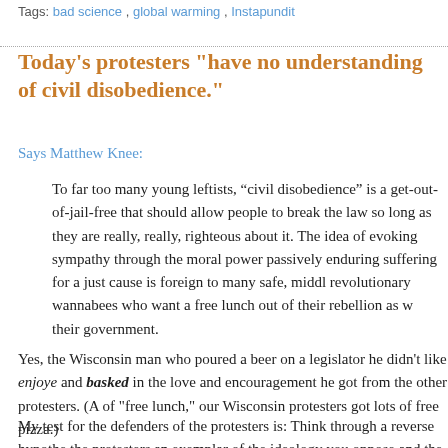Tags: bad science , global warming , Instapundit
Today's protesters "have no understanding of civil disobedience."
Says Matthew Knee:
To far too many young leftists, “civil disobedience” is a get-out-of-jail-free that should allow people to break the law so long as they are really, really, righteous about it. The idea of evoking sympathy through the moral power passively enduring suffering for a just cause is foreign to many safe, middle revolutionary wannabees who want a free lunch out of their rebellion as w their government.
Yes, the Wisconsin man who poured a beer on a legislator he didn’t like enjoyed and basked in the love and encouragement he got from the other protesters. (A of “free lunch,” our Wisconsin protesters got lots of free pizza.)
My test for the defenders of the protesters is: Think through a reverse hypothe the protesters an exemplar of the ideology you oppose and the target a propo